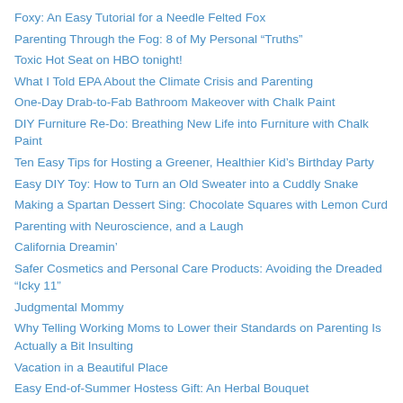Foxy: An Easy Tutorial for a Needle Felted Fox
Parenting Through the Fog: 8 of My Personal “Truths”
Toxic Hot Seat on HBO tonight!
What I Told EPA About the Climate Crisis and Parenting
One-Day Drab-to-Fab Bathroom Makeover with Chalk Paint
DIY Furniture Re-Do: Breathing New Life into Furniture with Chalk Paint
Ten Easy Tips for Hosting a Greener, Healthier Kid’s Birthday Party
Easy DIY Toy: How to Turn an Old Sweater into a Cuddly Snake
Making a Spartan Dessert Sing: Chocolate Squares with Lemon Curd
Parenting with Neuroscience, and a Laugh
California Dreamin’
Safer Cosmetics and Personal Care Products: Avoiding the Dreaded “Icky 11”
Judgmental Mommy
Why Telling Working Moms to Lower their Standards on Parenting Is Actually a Bit Insulting
Vacation in a Beautiful Place
Easy End-of-Summer Hostess Gift: An Herbal Bouquet
Infographic: The Power of Imagination
Hot Roads: The Fracking Fight Blows Up, and the Most Compelling